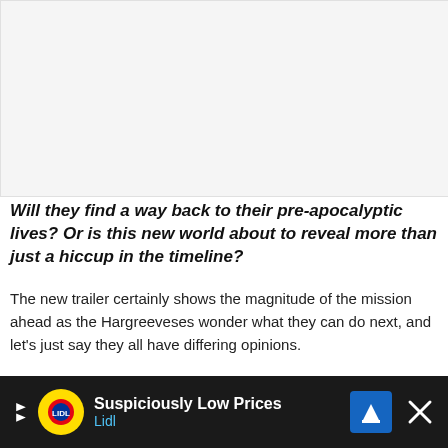[Figure (photo): Empty light grey placeholder image area at the top of the page]
Will they find a way back to their pre-apocalyptic lives? Or is this new world about to reveal more than just a hiccup in the timeline?
The new trailer certainly shows the magnitude of the mission ahead as the Hargreeveses wonder what they can do next, and let's just say they all have differing opinions.
The returning stars include Tom Hopper as Luther, Da... [continues below ad]
[Figure (infographic): Advertisement banner: Lidl 'Suspiciously Low Prices' ad with Lidl logo, navigation arrow icon, and close button on dark background]